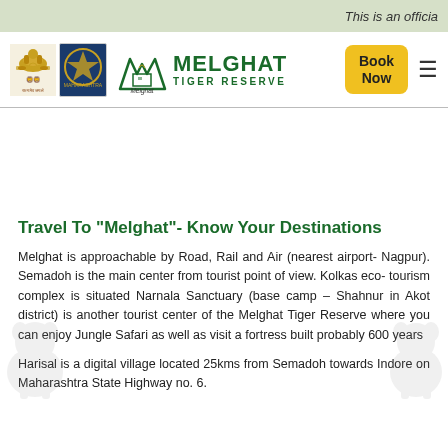This is an officia
[Figure (logo): Melghat Tiger Reserve official website header with Ashoka Emblem, Maharashtra Police logo, Melghat Tiger Reserve brand logo, Book Now button, and hamburger menu]
Travel To "Melghat"- Know Your Destinations
Melghat is approachable by Road, Rail and Air (nearest airport- Nagpur). Semadoh is the main center from tourist point of view. Kolkas eco- tourism complex is situated Narnala Sanctuary (base camp – Shahnur in Akot district) is another tourist center of the Melghat Tiger Reserve where you can enjoy Jungle Safari as well as visit a fortress built probably 600 years
Harisal is a digital village located 25kms from Semadoh towards Indore on Maharashtra State Highway no. 6.